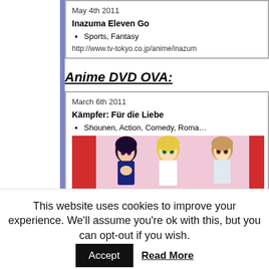| May 4th 2011 | Inazuma Eleven Go | Sports, Fantasy | http://www.tv-tokyo.co.jp/anime/inazum |
Anime DVD OVA:
| March 6th 2011 | Kämpfer: Für die Liebe | Shounen, Action, Comedy, Roma… |
[Figure (illustration): Anime characters illustration for Kämpfer: Für die Liebe]
This website uses cookies to improve your experience. We'll assume you're ok with this, but you can opt-out if you wish.
Accept
Read More